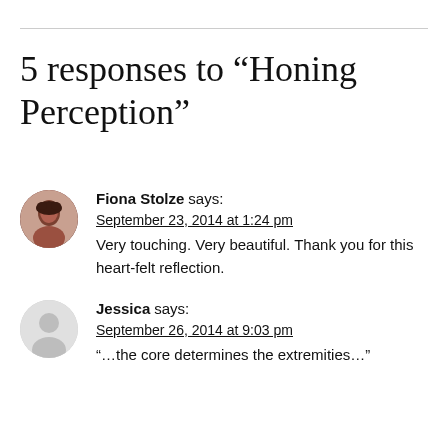5 responses to “Honing Perception”
Fiona Stolze says:
September 23, 2014 at 1:24 pm
Very touching. Very beautiful. Thank you for this heart-felt reflection.
Jessica says:
September 26, 2014 at 9:03 pm
“…the core determines the extremities…”